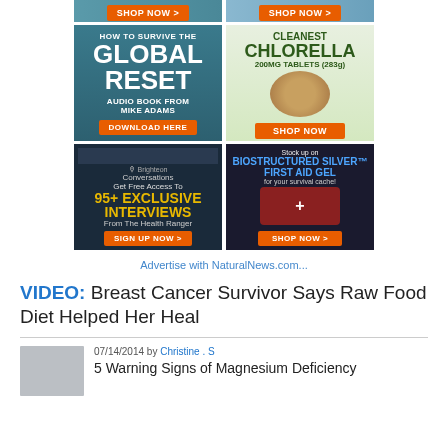[Figure (infographic): Top partial ad strip with two SHOP NOW buttons on orange backgrounds]
[Figure (infographic): Ad: How to Survive the Global Reset audio book from Mike Adams, teal background with Download Here button]
[Figure (infographic): Ad: Cleanest Chlorella 200MG Tablets (283g) with Shop Now button]
[Figure (infographic): Ad: Brighteon Conversations - Get Free Access To 95+ Exclusive Interviews From The Health Ranger, Sign Up Now button]
[Figure (infographic): Ad: Stock up on Biostructured Silver First Aid Gel for your survival cache, Shop Now button]
Advertise with NaturalNews.com...
VIDEO: Breast Cancer Survivor Says Raw Food Diet Helped Her Heal
07/14/2014 by Christine . S
5 Warning Signs of Magnesium Deficiency